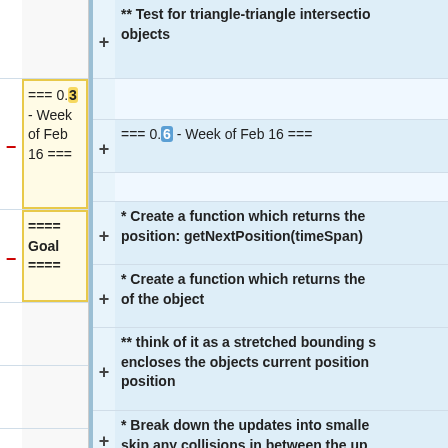** Test for triangle-triangle intersection objects
=== 0.3 - Week of Feb 16 ===
=== 0.6 - Week of Feb 16 ===
==== Goal ====
* Create a function which returns the position: getNextPosition(timeSpan)
* Create a function which returns the of the object
** think of it as a stretched bounding encloses the objects current position position
* Break down the updates into smaller skip any collisions in between the updates
* Extract the collision detection test class, and write it as a class of its own